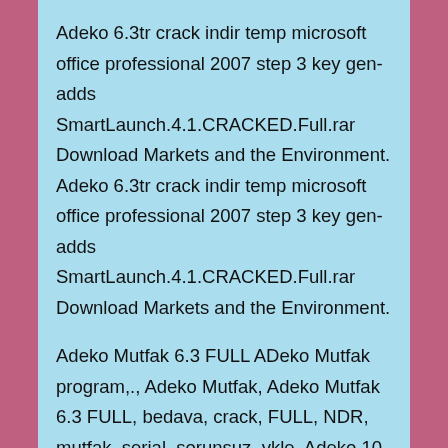Adeko 6.3tr crack indir temp microsoft office professional 2007 step 3 key gen-adds SmartLaunch.4.1.CRACKED.Full.rar Download Markets and the Environment. Adeko 6.3tr crack indir temp microsoft office professional 2007 step 3 key gen-adds SmartLaunch.4.1.CRACKED.Full.rar Download Markets and the Environment.
Adeko Mutfak 6.3 FULL ADeko Mutfak program,., Adeko Mutfak, Adeko Mutfak 6.3 FULL, bedava, crack, FULL, NDR, mutfak, serial, sorunsuz, ykle. Adeko 10 indir, ADEKO 6, adeko 6 indir, ADEKO 6.3 full, adeko 9 cracki adoko x crack, adoko 9 indir, adoko al